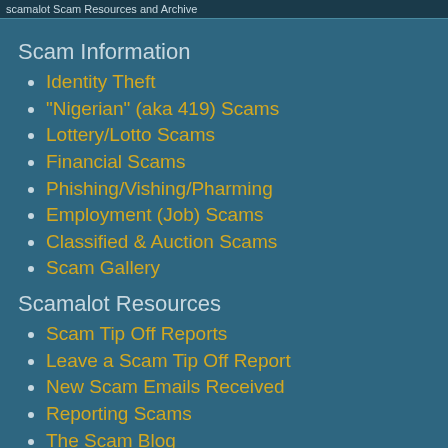scamalot Scam Resources and Archive
Scam Information
Identity Theft
"Nigerian" (aka 419) Scams
Lottery/Lotto Scams
Financial Scams
Phishing/Vishing/Pharming
Employment (Job) Scams
Classified & Auction Scams
Scam Gallery
Scamalot Resources
Scam Tip Off Reports
Leave a Scam Tip Off Report
New Scam Emails Received
Reporting Scams
The Scam Blog
Other Information
About scamalot
Site Map